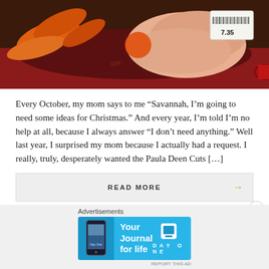[Figure (photo): Top portion of a red cooking pot/Dutch oven containing carrots and raw chicken with price tags visible showing 7.35]
Every October, my mom says to me “Savannah, I’m going to need some ideas for Christmas.” And every year, I’m told I’m no help at all, because I always answer “I don’t need anything.” Well last year, I surprised my mom because I actually had a request. I really, truly, desperately wanted the Paula Deen Cuts [...]
READ MORE →
Advertisements
[Figure (screenshot): Day One app advertisement banner with blue background showing phone image and text 'Your Journal for life' with Day One logo]